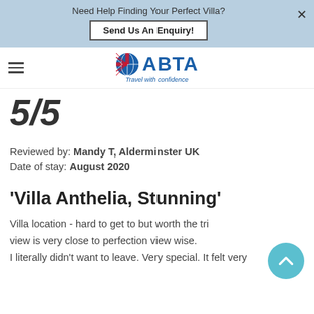Need Help Finding Your Perfect Villa? Send Us An Enquiry!
[Figure (logo): ABTA Travel with confidence logo with globe icon featuring UK flag]
5/5
Reviewed by: Mandy T, Alderminster UK
Date of stay: August 2020
'Villa Anthelia, Stunning'
Villa location - hard to get to but worth the trip, view is very close to perfection view wise.
I literally didn't want to leave. Very special. It felt very